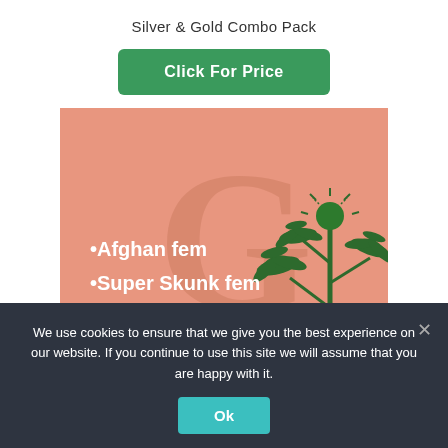Silver & Gold Combo Pack
Click For Price
[Figure (illustration): Product image on a salmon/pink background showing a cannabis plant illustration and white text listing: •Afghan fem, •Super Skunk fem, •Caramelicious fem. Large letter 'G' watermark visible. Cannabis buds shown at bottom.]
We use cookies to ensure that we give you the best experience on our website. If you continue to use this site we will assume that you are happy with it.
Ok